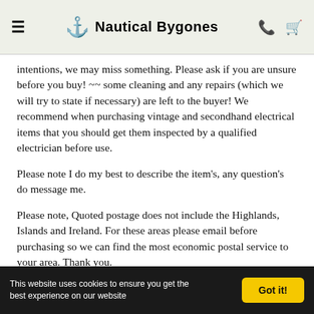≡  ⚓ Nautical Bygones  📞 🛒
intentions, we may miss something. Please ask if you are unsure before you buy! ~~ some cleaning and any repairs (which we will try to state if necessary) are left to the buyer! We recommend when purchasing vintage and secondhand electrical items that you should get them inspected by a qualified electrician before use.
Please note I do my best to describe the item's, any question's do message me.
Please note, Quoted postage does not include the Highlands, Islands and Ireland. For these areas please email before purchasing so we can find the most economic postal service to your area. Thank you.
This website uses cookies to ensure you get the best experience on our website  Got it!